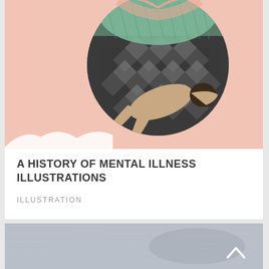[Figure (illustration): Collage illustration on salmon/peach background. A large circle contains a photograph of a person lying/crouching on a black-and-white diamond-pattern floor, with green quilted textile elements in the upper portion. Outside the circle, two teal teardrop shapes hang below, and white mountain silhouettes appear at the bottom edge.]
A HISTORY OF MENTAL ILLNESS ILLUSTRATIONS
ILLUSTRATION
[Figure (photo): Partial view of a second card below, showing a blue-gray textured surface (appears to be water or concrete), with a white upward-pointing chevron/caret button in the lower right corner.]